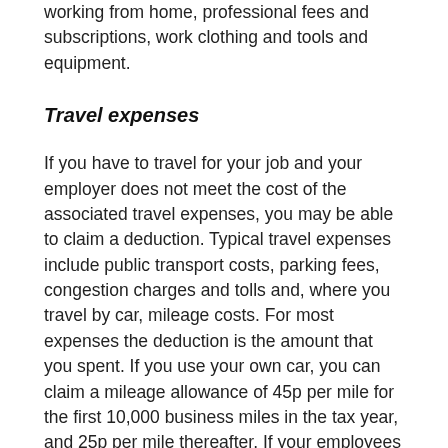working from home, professional fees and subscriptions, work clothing and tools and equipment.
Travel expenses
If you have to travel for your job and your employer does not meet the cost of the associated travel expenses, you may be able to claim a deduction. Typical travel expenses include public transport costs, parking fees, congestion charges and tolls and, where you travel by car, mileage costs. For most expenses the deduction is the amount that you spent. If you use your own car, you can claim a mileage allowance of 45p per mile for the first 10,000 business miles in the tax year, and 25p per mile thereafter. If your employees pays you an allowance, but it less